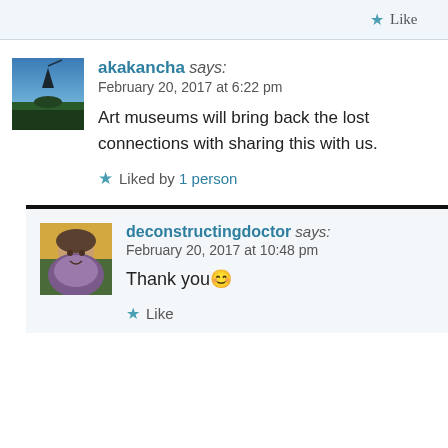Like
akakancha says: February 20, 2017 at 6:22 pm
Art museums will bring back the lost connections with sharing this with us.
Liked by 1 person
deconstructingdoctor says: February 20, 2017 at 10:48 pm
Thank you 😊
Like